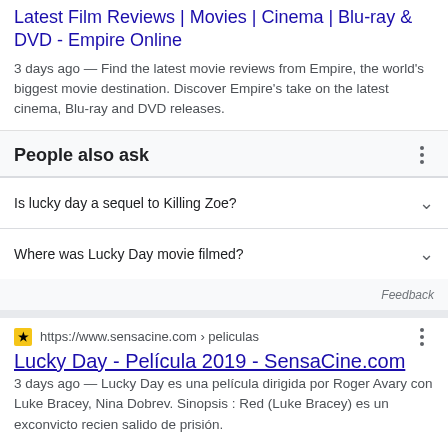Latest Film Reviews | Movies | Cinema | Blu-ray & DVD - Empire Online
3 days ago — Find the latest movie reviews from Empire, the world's biggest movie destination. Discover Empire's take on the latest cinema, Blu-ray and DVD releases.
People also ask
Is lucky day a sequel to Killing Zoe?
Where was Lucky Day movie filmed?
Feedback
https://www.sensacine.com › peliculas
Lucky Day - Película 2019 - SensaCine.com
3 days ago — Lucky Day es una película dirigida por Roger Avary con Luke Bracey, Nina Dobrev. Sinopsis : Red (Luke Bracey) es un exconvicto recien salido de prisión.